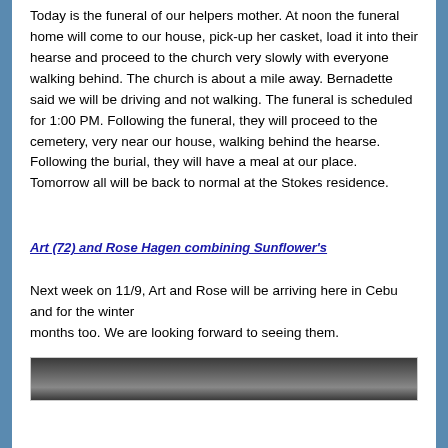Today is the funeral of our helpers mother. At noon the funeral home will come to our house, pick-up her casket, load it into their hearse and proceed to the church very slowly with everyone walking behind. The church is about a mile away. Bernadette said we will be driving and not walking. The funeral is scheduled for 1:00 PM. Following the funeral, they will proceed to the cemetery, very near our house, walking behind the hearse. Following the burial, they will have a meal at our place. Tomorrow all will be back to normal at the Stokes residence.
Art (72) and Rose Hagen combining Sunflower's
Next week on 11/9, Art and Rose will be arriving here in Cebu and for the winter months too. We are looking forward to seeing them.
[Figure (photo): A photo partially visible at the bottom of the page]